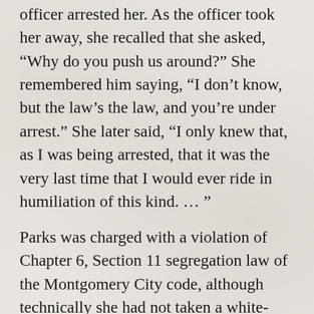officer arrested her. As the officer took her away, she recalled that she asked, “Why do you push us around?” She remembered him saying, “I don’t know, but the law’s the law, and you’re under arrest.” She later said, “I only knew that, as I was being arrested, that it was the very last time that I would ever ride in humiliation of this kind. … ”
Parks was charged with a violation of Chapter 6, Section 11 segregation law of the Montgomery City code, although technically she had not taken a white-only seat; she had been in a colored section. Edgar Nixon,